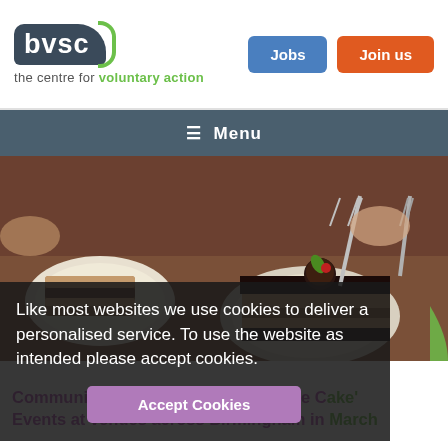[Figure (logo): BVSC logo with dark blue-grey rounded rectangle and green curved border accent, text 'bvsc' in white]
the centre for voluntary action
Jobs
Join us
☰ Menu
[Figure (photo): Close-up photo of chocolate cake slices on plates with forks, dark chocolate ganache with decorative green leaf and red berry garnish]
Like most websites we use cookies to deliver a personalised service. To use the website as intended please accept cookies.
Accept Cookies
Community Development 'Sharing the Cake' Events at venues across Birmingham in March